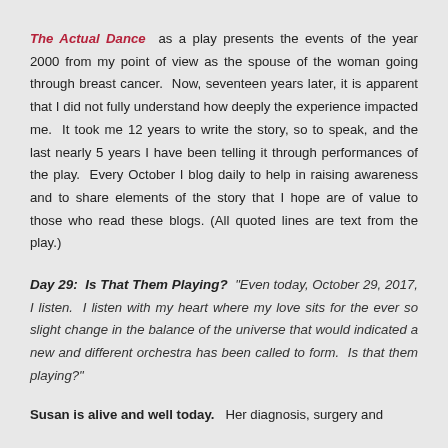The Actual Dance as a play presents the events of the year 2000 from my point of view as the spouse of the woman going through breast cancer. Now, seventeen years later, it is apparent that I did not fully understand how deeply the experience impacted me. It took me 12 years to write the story, so to speak, and the last nearly 5 years I have been telling it through performances of the play. Every October I blog daily to help in raising awareness and to share elements of the story that I hope are of value to those who read these blogs. (All quoted lines are text from the play.)
Day 29: Is That Them Playing? "Even today, October 29, 2017, I listen. I listen with my heart where my love sits for the ever so slight change in the balance of the universe that would indicated a new and different orchestra has been called to form. Is that them playing?"
Susan is alive and well today. Her diagnosis, surgery and chemotherapy occurred back in the year 2000, and it is...